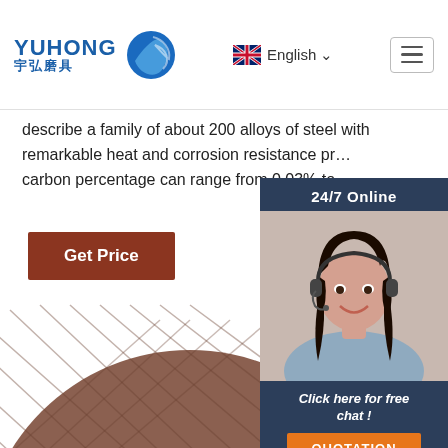YUHONG 宇弘磨具 | English | Navigation
describe a family of about 200 alloys of steel with remarkable heat and corrosion resistance pr... carbon percentage can range from 0.03% to
Get Price
[Figure (photo): Customer service representative woman with headset, chat widget with '24/7 Online', 'Click here for free chat!', and QUOTATION button]
[Figure (photo): Close-up photo of a brown grinding/cutting disc with ribbed texture and metal center hub, partially visible]